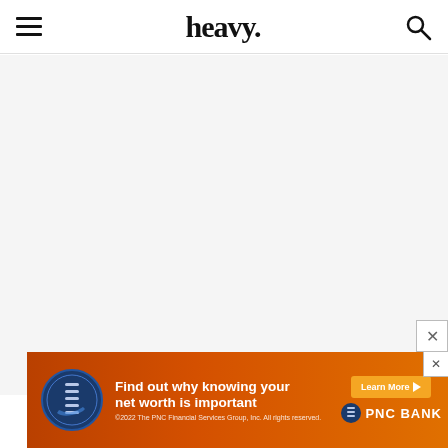heavy.
[Figure (other): Large empty light gray content area placeholder]
[Figure (infographic): PNC Bank advertisement banner: orange background, coin icon on left, headline 'Find out why knowing your net worth is important', Learn More button with play icon, PNC BANK logo. Fine print: ©2022 The PNC Financial Services Group, Inc. All rights reserved.]